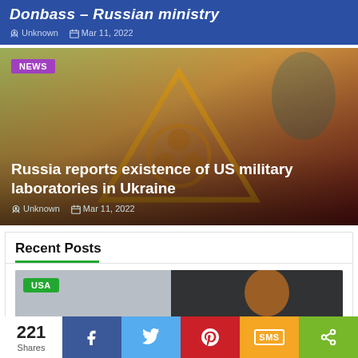Donbass – Russian ministry
Unknown  Mar 11, 2022
[Figure (photo): News card with biohazard warning triangle symbol and a person in background; gradient overlay from yellow-green top to dark red bottom]
Russia reports existence of US military laboratories in Ukraine
Unknown  Mar 11, 2022
Recent Posts
[Figure (photo): Thumbnail showing a dark flag with Trump image on grey sky background, with USA badge overlay]